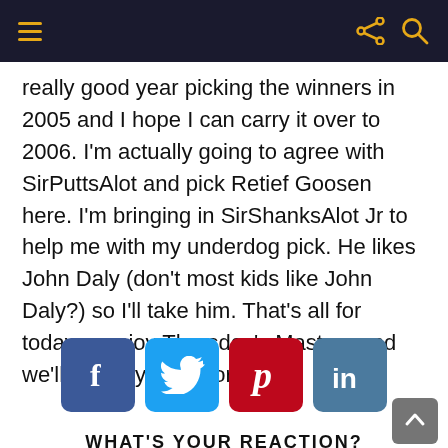Navigation bar with hamburger menu, share icon, and search icon
really good year picking the winners in 2005 and I hope I can carry it over to 2006. I'm actually going to agree with SirPuttsAlot and pick Retief Goosen here. I'm bringing in SirShanksAlot Jr to help me with my underdog pick. He likes John Daly (don't most kids like John Daly?) so I'll take him. That's all for today… enjoy Thursday's Masters and we'll talk to you tomorrow.
[Figure (infographic): Four social media share buttons: Facebook (dark blue), Twitter (light blue), Pinterest (red), LinkedIn (steel blue)]
WHAT'S YOUR REACTION?
[Figure (infographic): Row of reaction emoji faces partially visible at bottom of page]